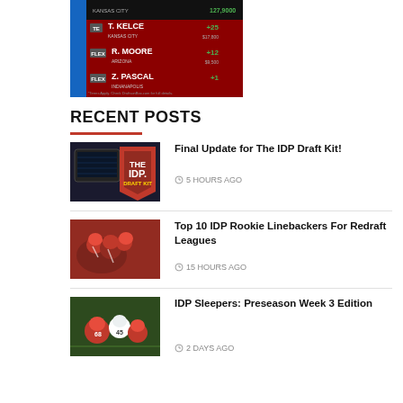[Figure (screenshot): Fantasy sports app screenshot showing player lineup with T. Kelce (TE, Kansas City), R. Moore (FLEX, Arizona), and Z. Pascal (FLEX) with scores]
RECENT POSTS
[Figure (photo): IDP Draft Kit logo on dark background with tablet]
Final Update for The IDP Draft Kit!
5 HOURS AGO
[Figure (photo): Football players in red uniforms tackling]
Top 10 IDP Rookie Linebackers For Redraft Leagues
15 HOURS AGO
[Figure (photo): Football players in red and white uniforms on field]
IDP Sleepers: Preseason Week 3 Edition
2 DAYS AGO